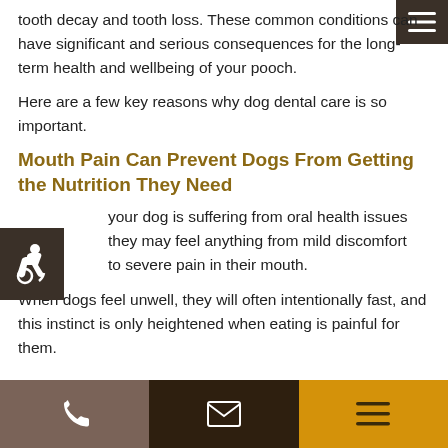tooth decay and tooth loss. These common conditions can have significant and serious consequences for the long-term health and wellbeing of your pooch.
Here are a few key reasons why dog dental care is so important.
Mouth Pain Can Prevent Dogs From Getting the Nutrition They Need
If your dog is suffering from oral health issues they may feel anything from mild discomfort to severe pain in their mouth.
When dogs feel unwell, they will often intentionally fast, and this instinct is only heightened when eating is painful for them.
[Figure (other): Bottom navigation bar with three sections: phone icon on taupe background, email icon on dark brown background, and hamburger menu icon on gold/yellow background]